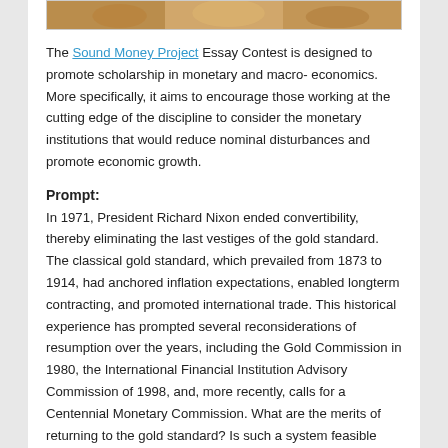[Figure (photo): Cropped top of a photo showing gold coins or similar monetary objects with warm golden tones]
The Sound Money Project Essay Contest is designed to promote scholarship in monetary and macro- economics. More specifically, it aims to encourage those working at the cutting edge of the discipline to consider the monetary institutions that would reduce nominal disturbances and promote economic growth.
Prompt:
In 1971, President Richard Nixon ended convertibility, thereby eliminating the last vestiges of the gold standard. The classical gold standard, which prevailed from 1873 to 1914, had anchored inflation expectations, enabled longterm contracting, and promoted international trade. This historical experience has prompted several reconsiderations of resumption over the years, including the Gold Commission in 1980, the International Financial Institution Advisory Commission of 1998, and, more recently, calls for a Centennial Monetary Commission. What are the merits of returning to the gold standard? Is such a system feasible today?